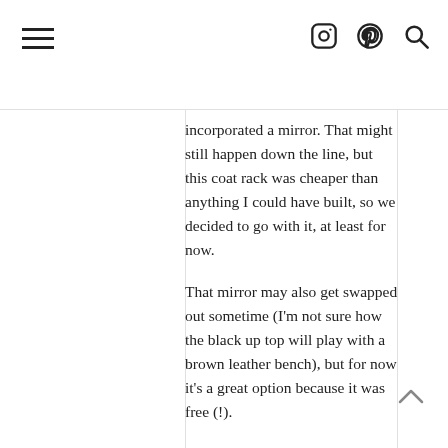incorporated a mirror. That might still happen down the line, but this coat rack was cheaper than anything I could have built, so we decided to go with it, at least for now.
That mirror may also get swapped out sometime (I'm not sure how the black up top will play with a brown leather bench), but for now it's a great option because it was free (!).
We had this mirror already from the City House—it's actually one that we took down in the powder bathroom there. I'm glad we kept it, though, because it makes a great statement on this wall